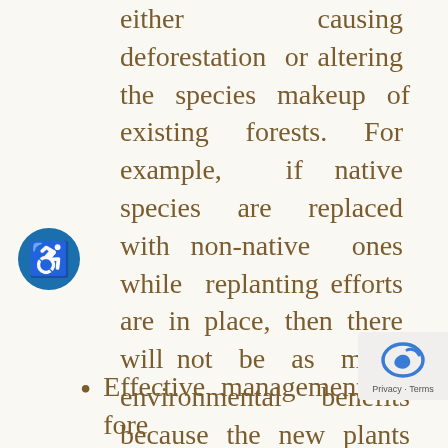either causing deforestation or altering the species makeup of existing forests. For example, if native species are replaced with non-native ones while replanting efforts are in place, then there will not be as many environmental benefits because the new plants do not support wildlife. These negative impacts can only be avoided through better education and stricter governmental policies.
Effective management of forests...